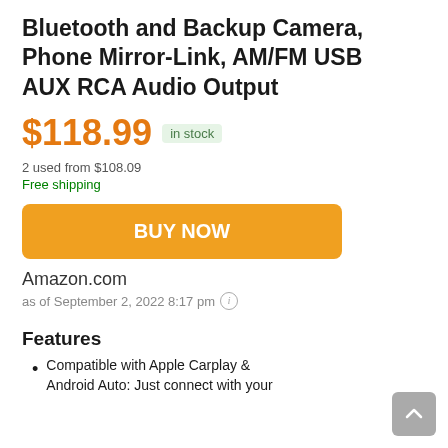Bluetooth and Backup Camera, Phone Mirror-Link, AM/FM USB AUX RCA Audio Output
$118.99  in stock
2 used from $108.09
Free shipping
BUY NOW
Amazon.com
as of September 2, 2022 8:17 pm ℹ
Features
Compatible with Apple Carplay & Android Auto: Just connect with your